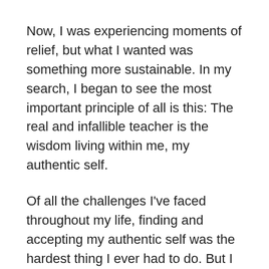Now, I was experiencing moments of relief, but what I wanted was something more sustainable. In my search, I began to see the most important principle of all is this: The real and infallible teacher is the wisdom living within me, my authentic self.
Of all the challenges I've faced throughout my life, finding and accepting my authentic self was the hardest thing I ever had to do. But I forged a path back to that Self. And this is the principle I want to impart to you.
You're human—mind, body, and spirit. When you truly grasp what this means, the exercise of human being isn't nearly as complicated as it may seem